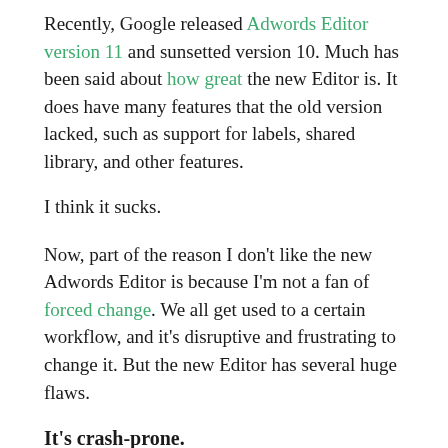Recently, Google released Adwords Editor version 11 and sunsetted version 10. Much has been said about how great the new Editor is. It does have many features that the old version lacked, such as support for labels, shared library, and other features.
I think it sucks.
Now, part of the reason I don't like the new Adwords Editor is because I'm not a fan of forced change. We all get used to a certain workflow, and it's disruptive and frustrating to change it. But the new Editor has several huge flaws.
It's crash-prone.
I noticed a few crashes when I first downloaded Editor 11, but others are still having issues.